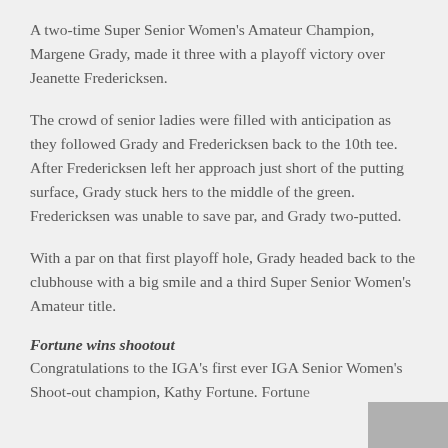A two-time Super Senior Women's Amateur Champion, Margene Grady, made it three with a playoff victory over Jeanette Fredericksen.
The crowd of senior ladies were filled with anticipation as they followed Grady and Fredericksen back to the 10th tee. After Fredericksen left her approach just short of the putting surface, Grady stuck hers to the middle of the green. Fredericksen was unable to save par, and Grady two-putted.
With a par on that first playoff hole, Grady headed back to the clubhouse with a big smile and a third Super Senior Women's Amateur title.
Fortune wins shootout
Congratulations to the IGA's first ever IGA Senior Women's Shoot-out champion, Kathy Fortune. Fortune